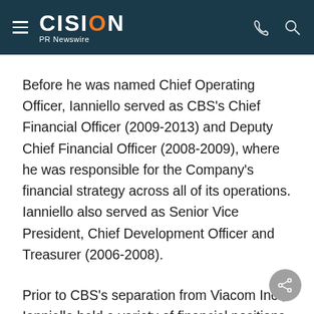CISION PR Newswire
Before he was named Chief Operating Officer, Ianniello served as CBS's Chief Financial Officer (2009-2013) and Deputy Chief Financial Officer (2008-2009), where he was responsible for the Company's financial strategy across all of its operations. Ianniello also served as Senior Vice President, Chief Development Officer and Treasurer (2006-2008).
Prior to CBS's separation from Viacom Inc., Ianniello held a variety of financial positions with the Company, including Senior Vice President and